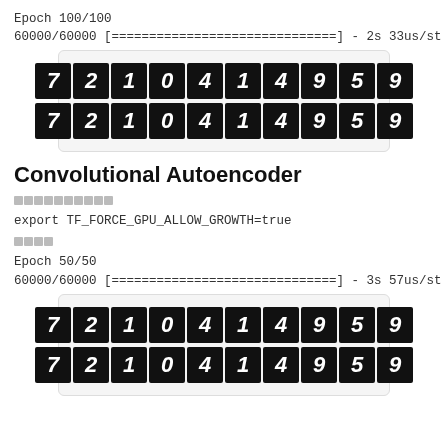Epoch 100/100
60000/60000 [==============================] - 2s 33us/st
[Figure (illustration): Two rows of MNIST digit images (7 2 1 0 4 1 4 9 5 9) shown as white digits on black squares, original and reconstructed]
Convolutional Autoencoder
□□□□□□□□□□
export TF_FORCE_GPU_ALLOW_GROWTH=true
□□□□
Epoch 50/50
60000/60000 [==============================] - 3s 57us/st
[Figure (illustration): Two rows of MNIST digit images (7 2 1 0 4 1 4 9 5 9) shown as white digits on black squares, original and reconstructed]